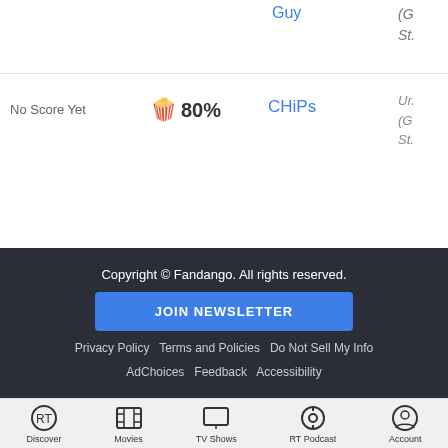Guy
St...
No Score Yet
🍿 80%
CHiPs
Ur... (G... St...
Copyright © Fandango. All rights reserved.
JOIN NEWSLETTER
Privacy Policy   Terms and Policies   Do Not Sell My Info
AdChoices   Feedback   Accessibility
Discover  Movies  TV Shows  RT Podcast  Account